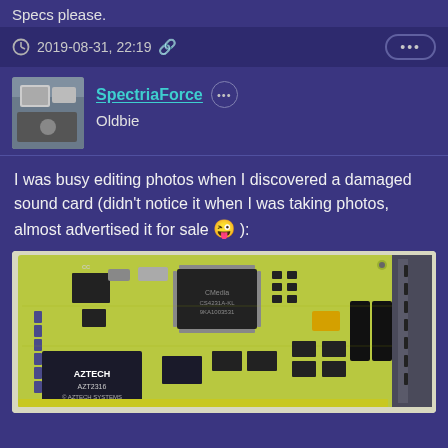Specs please.
2019-08-31, 22:19
SpectriaForce
Oldbie
I was busy editing photos when I discovered a damaged sound card (didn't notice it when I was taking photos, almost advertised it for sale 😜 ):
[Figure (photo): Photo of a yellow-green PCB sound card (Aztech AZT2316 by Aztech Systems) with various chips including a CMedia chip, capacitors, and connectors on a light background.]